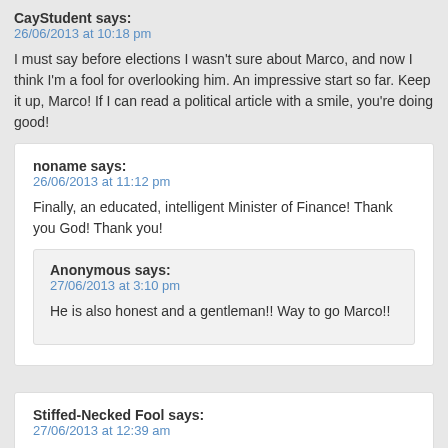CayStudent says:
26/06/2013 at 10:18 pm

I must say before elections I wasn't sure about Marco, and now I think I'm a fool for overlooking him. An impressive start so far. Keep it up, Marco! If I can read a political article with a smile, you're doing good!
noname says:
26/06/2013 at 11:12 pm

Finally, an educated, intelligent Minister of Finance! Thank you God! Thank you!
Anonymous says:
27/06/2013 at 3:10 pm

He is also honest and a gentleman!!  Way to go Marco!!
Stiffed-Necked Fool says:
27/06/2013 at 12:39 am

This is so refreshing after the last 4 years! Cayman is now in good &